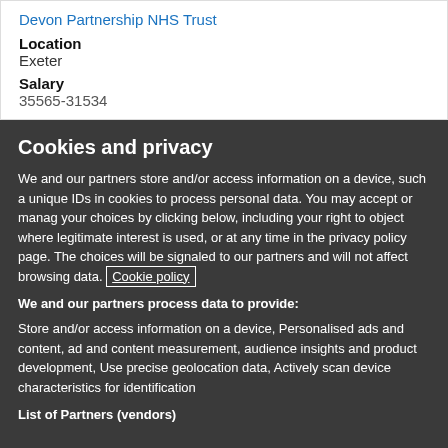Devon Partnership NHS Trust
Location
Exeter
Salary
35665-31534
Cookies and privacy
We and our partners store and/or access information on a device, such as unique IDs in cookies to process personal data. You may accept or manage your choices by clicking below, including your right to object where legitimate interest is used, or at any time in the privacy policy page. These choices will be signaled to our partners and will not affect browsing data. Cookie policy
We and our partners process data to provide:
Store and/or access information on a device, Personalised ads and content, ad and content measurement, audience insights and product development, Use precise geolocation data, Actively scan device characteristics for identification
List of Partners (vendors)